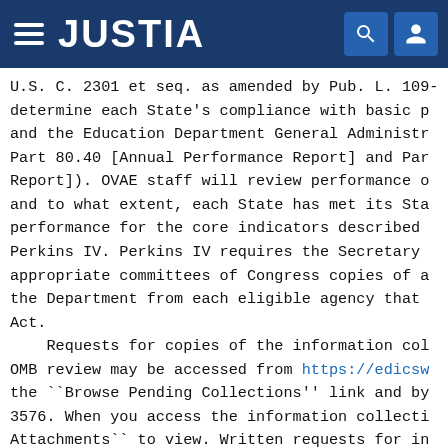JUSTIA
U.S. C. 2301 et seq. as amended by Pub. L. 109-
determine each State's compliance with basic p
and the Education Department General Administr
Part 80.40 [Annual Performance Report] and Par
Report]). OVAE staff will review performance o
and to what extent, each State has met its Sta
performance for the core indicators described
Perkins IV. Perkins IV requires the Secretary
appropriate committees of Congress copies of a
the Department from each eligible agency that
Act.
    Requests for copies of the information col
OMB review may be accessed from https://edicsw
the ``Browse Pending Collections'' link and by
3576. When you access the information collecti
Attachments`` to view. Written requests for in
addressed to U.S. Department of Education, 400